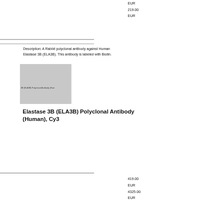EUR
219.00
EUR
Description: A Rabbit polyclonal antibody against Human Elastase 3B (ELA3B). This antibody is labeled with Biotin.
[Figure (photo): Product image placeholder for Elastase 3B (ELA3B) Polyclonal Antibody (Human), Cy3 — grey rectangle with small label text]
Elastase 3B (ELA3B) Polyclonal Antibody (Human), Cy3
419.00
EUR
4325.00
EUR